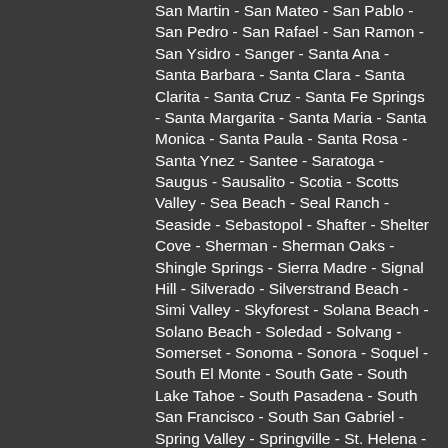San Martin - San Mateo - San Pablo - San Pedro - San Rafael - San Ramon - San Ysidro - Sanger - Santa Ana - Santa Barbara - Santa Clara - Santa Clarita - Santa Cruz - Santa Fe Springs - Santa Margarita - Santa Maria - Santa Monica - Santa Paula - Santa Rosa - Santa Ynez - Santee - Saratoga - Saugus - Sausalito - Scotia - Scotts Valley - Sea Beach - Seal Ranch - Seaside - Sebastopol - Shafter - Shelter Cove - Sherman - Sherman Oaks - Shingle Springs - Sierra Madre - Signal Hill - Silverado - Silverstrand Beach - Simi Valley - Skyforest - Solana Beach - Solano Beach - Soledad - Solvang - Somerset - Sonoma - Sonora - Soquel - South El Monte - South Gate - South Lake Tahoe - South Pasadena - South San Francisco - South San Gabriel - Spring Valley - Springville - St. Helena - Stanislaus - Stockton - Studio City - Suisun - Suisun City - Summerland - Sun City - Sunland - Sunnyvale - Sunol - Sunset Beach - Sun Valley - Surfside - Sylmar - Taft - Tahoe City -